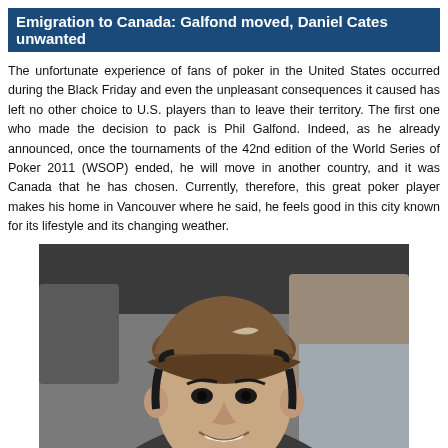Emigration to Canada: Galfond moved, Daniel Cates unwanted
The unfortunate experience of fans of poker in the United States occurred during the Black Friday and even the unpleasant consequences it caused has left no other choice to U.S. players than to leave their territory. The first one who made the decision to pack is Phil Galfond. Indeed, as he already announced, once the tournaments of the 42nd edition of the World Series of Poker 2011 (WSOP) ended, he will move in another country, and it was Canada that he has chosen. Currently, therefore, this great poker player makes his home in Vancouver where he said, he feels good in this city known for its lifestyle and its changing weather.
[Figure (photo): Photo of a young man wearing a brown Nike baseball cap and a dark shirt, smiling, seated at what appears to be a poker tournament table.]